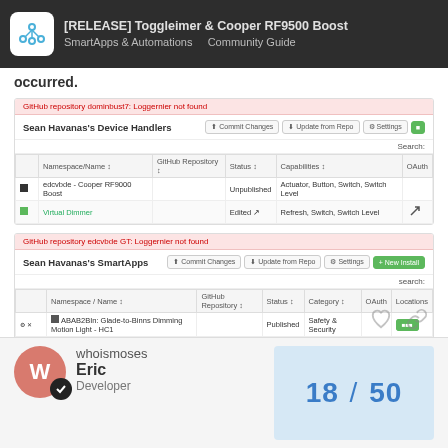[RELEASE] Toggleimer & Cooper RF9500 Boost SmartApps & Automations – Community Guide
occurred.
[Figure (screenshot): Screenshot of Sean Havanas's Device Handlers GitHub IDE panel showing error banner 'GitHub repository dominbust7: Loggernier not found', table with columns Namespace/Name, GitHub Repository, Status, Capabilities, OAuth; rows: edcvbde - Cooper RF9000 Boost (Unpublished, Actuator, Button, Switch, Switch Level) and Virtual Dimmer (Edited, Refresh, Switch, Switch Level).]
[Figure (screenshot): Screenshot of Sean Havanas's SmartApps GitHub IDE panel showing error banner, table with columns Namespace/Name, GitHub Repository, Status, Category, OAuth, Locations; rows: ABAB2BIn: Glade-to-Binns Dimming Motion Light - HC1 (Published, Safety & Security), elobulbe - Toggleimer (Published, My Apps), maintnam - The With Un (Published, My Apps).]
whoismoses
Eric
Developer
18 / 50